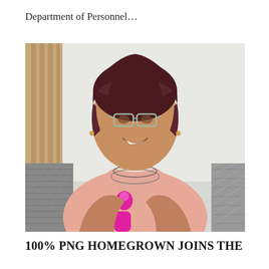Department of Personnel…
[Figure (photo): A smiling woman with short dark curly hair and glasses, wearing a pink sleeveless top and layered necklaces, seated on a grey sofa, holding a pink item. Background is light grey with curtains on the left.]
100% PNG HOMEGROWN JOINS THE